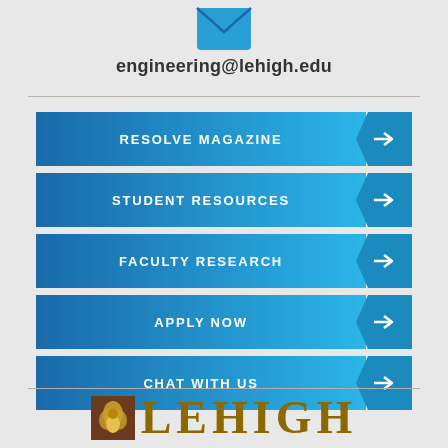[Figure (illustration): Blue envelope email icon centered at top]
engineering@lehigh.edu
[Figure (infographic): Five blue gradient navigation buttons with arrow tabs: RESOLVE MAGAZINE, STUDENT RESOURCES, FACULTY RESEARCH, APPLY NOW, CHAT WITH US]
[Figure (logo): Lehigh University logo with emblem and LEHIGH text in gold/brown]